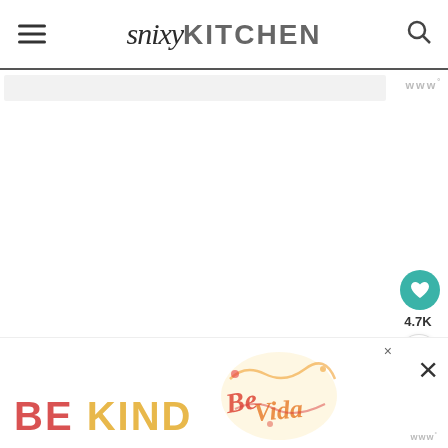snixykitchen — hamburger menu, logo, search icon
[Figure (screenshot): Snixy Kitchen website header with hamburger menu icon on left, script+sans-serif logo 'snixyKITCHEN' in center, and search icon on right, with horizontal rule below]
[Figure (screenshot): Main content area of food blog, mostly white/blank with a light gray ad placeholder bar at top right showing 'www' watermark text. Social interaction buttons on right side: teal heart button, 4.7K count, share button]
[Figure (infographic): Bottom advertisement banner with 'BE KIND' text in red and yellow, decorative script illustration, close buttons (small x top and large X), and www watermark label at bottom right]